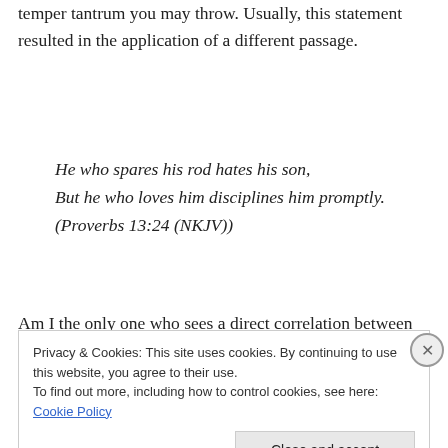temper tantrum you may throw. Usually, this statement resulted in the application of a different passage.
He who spares his rod hates his son,
But he who loves him disciplines him promptly.
(Proverbs 13:24 (NKJV))
Am I the only one who sees a direct correlation between
Privacy & Cookies: This site uses cookies. By continuing to use this website, you agree to their use.
To find out more, including how to control cookies, see here: Cookie Policy
Close and accept